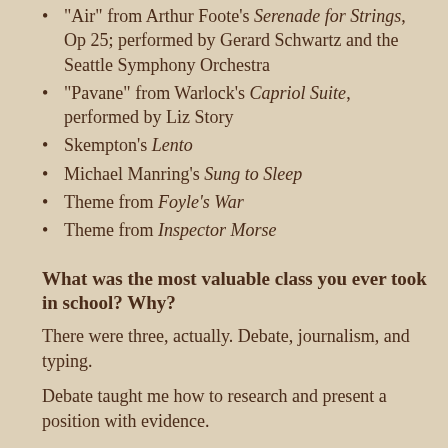“Air” from Arthur Foote’s Serenade for Strings, Op 25; performed by Gerard Schwartz and the Seattle Symphony Orchestra
“Pavane” from Warlock’s Capriol Suite, performed by Liz Story
Skempton’s Lento
Michael Manring’s Sung to Sleep
Theme from Foyle’s War
Theme from Inspector Morse
What was the most valuable class you ever took in school? Why?
There were three, actually. Debate, journalism, and typing.
Debate taught me how to research and present a position with evidence.
Journalism taught me how to write so that the most important…